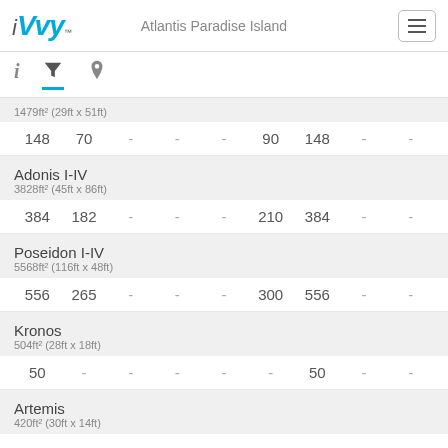iVvy™  Atlantis Paradise Island
1479ft² (29ft x 51ft)
148  70  -  -  -  90  148  -  -
Adonis I-IV
3828ft² (45ft x 86ft)
384  182  -  -  -  210  384  -  -
Poseidon I-IV
5568ft² (116ft x 48ft)
556  265  -  -  -  300  556  -  -
Kronos
504ft² (28ft x 18ft)
50  -  -  -  -  -  50  -  -
Artemis
420ft² (30ft x 14ft)
42  ...  30  42